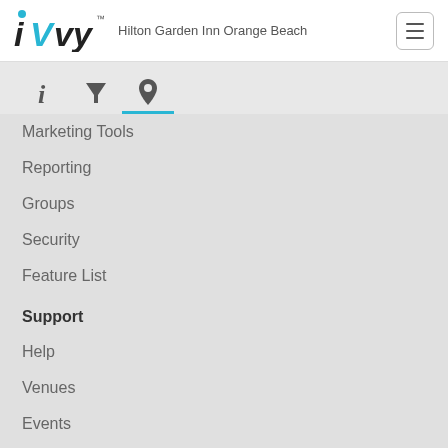iVvy — Hilton Garden Inn Orange Beach
[Figure (screenshot): Navigation tab bar with three icons: info (i), filter (funnel), and location pin. The location pin tab is active with a blue underline.]
Marketing Tools
Reporting
Groups
Security
Feature List
Support
Help
Venues
Events
Marketplace FAQs
API